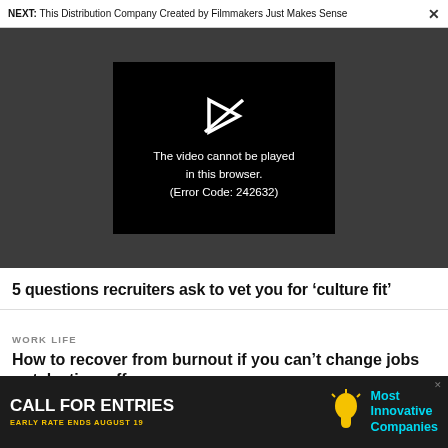NEXT: This Distribution Company Created by Filmmakers Just Makes Sense
[Figure (screenshot): Video player error screen on dark grey background. Black rectangle in center showing a broken play button icon and text: 'The video cannot be played in this browser. (Error Code: 242632)']
5 questions recruiters ask to vet you for ‘culture fit’
WORK LIFE
How to recover from burnout if you can’t change jobs or take time off
[Figure (infographic): Advertisement banner: 'CALL FOR ENTRIES' in white bold text, 'EARLY RATE ENDS AUGUST 19' in yellow, lightbulb icon, 'Most Innovative Companies' in cyan text on dark background]